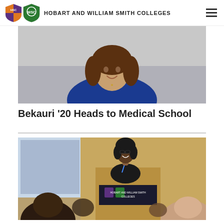HOBART AND WILLIAM SMITH COLLEGES
[Figure (photo): Smiling woman with brown hair wearing a blue top, portrait photo against a blurred background]
Bekauri '20 Heads to Medical School
[Figure (photo): A young woman speaking at a podium bearing the Hobart and William Smith Colleges logo, with an audience visible in the foreground]